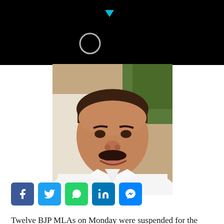[Figure (photo): Black header area with loading spinner circle and small blue triangle/play button icon, indicating a video loading state]
[Figure (photo): Portrait photo of a middle-aged Indian man with a mustache, smiling, wearing a white shirt, with green foliage in the background]
[Figure (infographic): Social media sharing buttons row: Facebook (blue), Twitter (light blue), WhatsApp (green), LinkedIn (blue), Messenger (blue)]
Twelve BJP MLAs on Monday were suspended for the